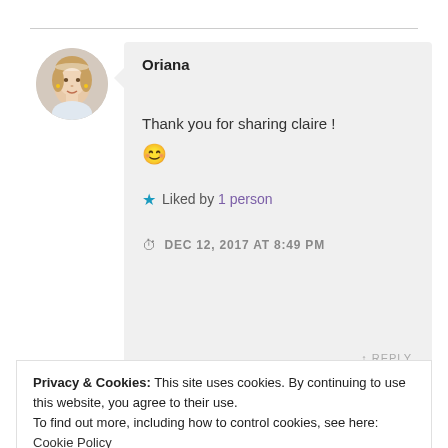[Figure (photo): Circular avatar photo of a young woman with blonde hair]
Oriana
Thank you for sharing claire ! 😊
★ Liked by 1 person
DEC 12, 2017 AT 8:49 PM
Privacy & Cookies: This site uses cookies. By continuing to use this website, you agree to their use.
To find out more, including how to control cookies, see here: Cookie Policy
Close and accept
Leave a Reply